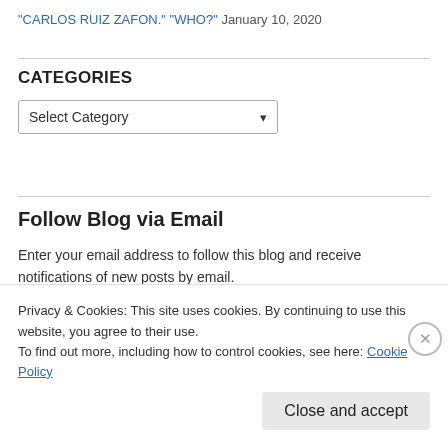"CARLOS RUIZ ZAFON." "WHO?" January 10, 2020
CATEGORIES
Select Category
Follow Blog via Email
Enter your email address to follow this blog and receive notifications of new posts by email.
Enter your email address
Privacy & Cookies: This site uses cookies. By continuing to use this website, you agree to their use.
To find out more, including how to control cookies, see here: Cookie Policy
Close and accept